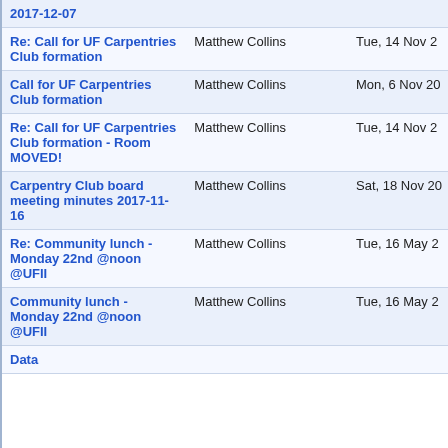| Subject | Sender | Date |
| --- | --- | --- |
| 2017-12-07 |  |  |
| Re: Call for UF Carpentries Club formation | Matthew Collins | Tue, 14 Nov 2 |
| Call for UF Carpentries Club formation | Matthew Collins | Mon, 6 Nov 20 |
| Re: Call for UF Carpentries Club formation - Room MOVED! | Matthew Collins | Tue, 14 Nov 2 |
| Carpentry Club board meeting minutes 2017-11-16 | Matthew Collins | Sat, 18 Nov 20 |
| Re: Community lunch - Monday 22nd @noon @UFII | Matthew Collins | Tue, 16 May 2 |
| Community lunch - Monday 22nd @noon @UFII | Matthew Collins | Tue, 16 May 2 |
| Data |  |  |